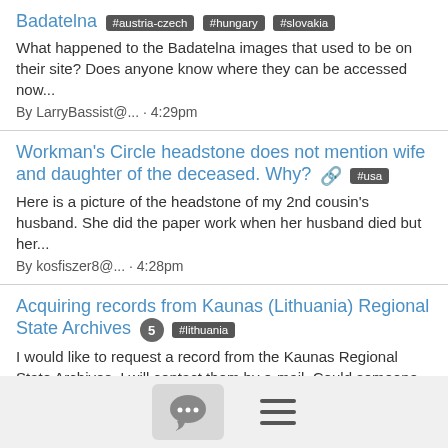Badatelna #austria-czech #hungary #slovakia
What happened to the Badatelna images that used to be on their site? Does anyone know where they can be accessed now...
By LarryBassist@... · 4:29pm
Workman's Circle headstone does not mention wife and daughter of the deceased. Why? [paperclip] #usa
Here is a picture of the headstone of my 2nd cousin's husband. She did the paper work when her husband died but her...
By kosfiszer8@... · 4:28pm
Acquiring records from Kaunas (Lithuania) Regional State Archives 5 #lithuania
I would like to request a record from the Kaunas Regional State Archives. I will contact them by e-mail. Could someone who...
By Stephen Katz · 2:46pm
Bessarabia SIG progress report for the month of August 2023...